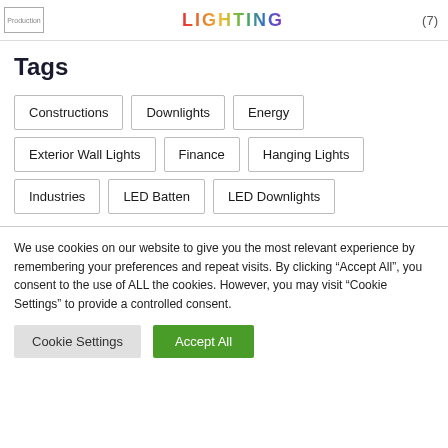Production LIGHTING (7)
Tags
Constructions
Downlights
Energy
Exterior Wall Lights
Finance
Hanging Lights
Industries
LED Batten
LED Downlights
We use cookies on our website to give you the most relevant experience by remembering your preferences and repeat visits. By clicking “Accept All”, you consent to the use of ALL the cookies. However, you may visit “Cookie Settings” to provide a controlled consent.
Cookie Settings   Accept All